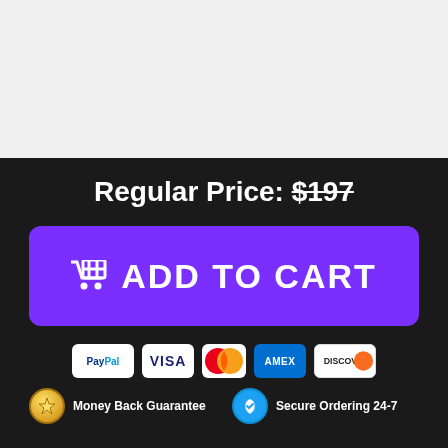[Figure (other): Light grey placeholder image area at top of page]
Regular Price: $197
[Figure (other): Purple ADD TO CART button with shopping cart icon]
[Figure (other): Payment method icons: PayPal, Visa, Mastercard, Amex, Discover]
Money Back Guarantee
Secure Ordering 24-7